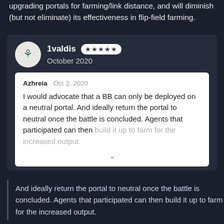upgrading portals for farming/link distance, and will diminish (but not eliminate) its effectiveness in flip-field farming.
1valdis ★★★★★ October 2020
Azhreia  Oct 2, 2020
I would advocate that a BB can only be deployed on a neutral portal. And ideally return the portal to neutral once the battle is concluded. Agents that participated can then build it up to farm for the increased output.
And ideally return the portal to neutral once the battle is concluded. Agents that participated can then build it up to farm for the increased output.
I hear this as "wintrade". For the other faction we are opponents, not farm partners.